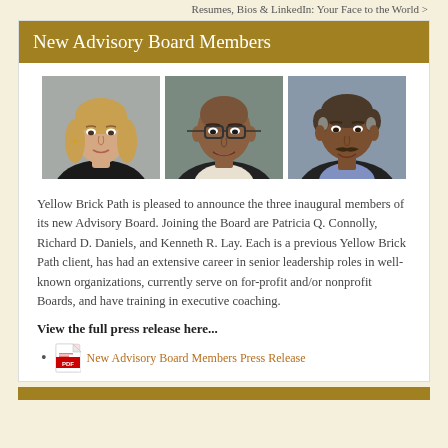Resumes, Bios & LinkedIn: Your Face to the World >
New Advisory Board Members
[Figure (photo): Three professional headshot photos of advisory board members: a woman with blonde hair, a bald man with glasses, and a man with a mustache.]
Yellow Brick Path is pleased to announce the three inaugural members of its new Advisory Board. Joining the Board are Patricia Q. Connolly, Richard D. Daniels, and Kenneth R. Lay. Each is a previous Yellow Brick Path client, has had an extensive career in senior leadership roles in well-known organizations, currently serve on for-profit and/or nonprofit Boards, and have training in executive coaching.
View the full press release here...
New Advisory Board Members Press Release